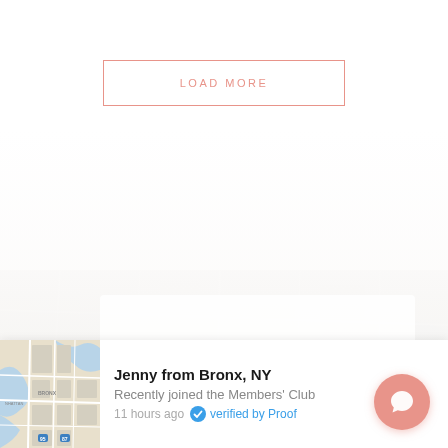LOAD MORE
[Figure (screenshot): Faded background map of New York City area]
[Figure (map): Map thumbnail showing Bronx/Manhattan area of New York City]
Jenny from Bronx, NY
Recently joined the Members' Club
11 hours ago  verified by Proof